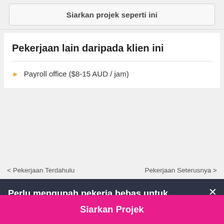Siarkan projek seperti ini
Pekerjaan lain daripada klien ini
Payroll office ($8-15 AUD / jam)
< Pekerjaan Terdahulu
Pekerjaan Seterusnya >
Perlu mengupah pekerja bebas untuk pekerjaan?
Siarkan Projek